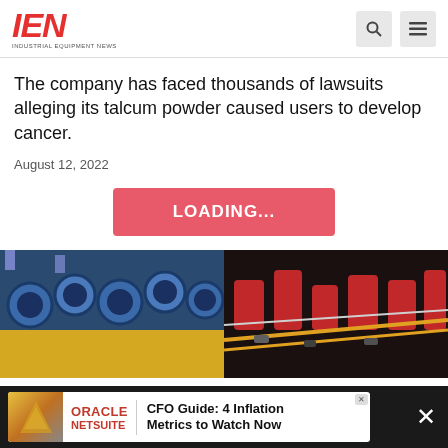IEN INDUSTRIAL EQUIPMENT NEWS
The company has faced thousands of lawsuits alleging its talcum powder caused users to develop cancer.
August 12, 2022
LOADING...
[Figure (photo): Two side-by-side industrial equipment photos: left shows blue metal nuts and bolts on yellow background; right shows red electronic components and wiring]
[Figure (logo): IEN Industrial Equipment News logo in red italic letters]
[Figure (infographic): Oracle NetSuite advertisement banner: CFO Guide: 4 Inflation Metrics to Watch Now]